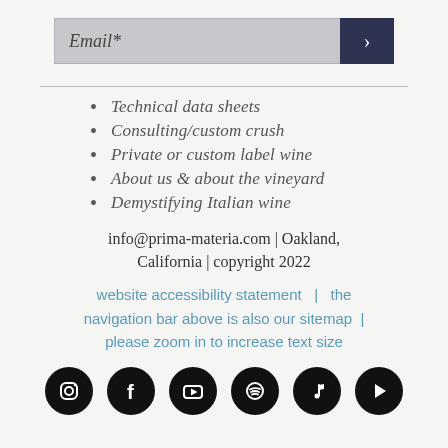[Figure (other): Email input field with dark blue submit button showing '>']
Technical data sheets
Consulting/custom crush
Private or custom label wine
About us & about the vineyard
Demystifying Italian wine
info@prima-materia.com | Oakland, California | copyright 2022
website accessibility statement  |  the navigation bar above is also our sitemap  |  please zoom in to increase text size
[Figure (other): Row of 6 social media icons: Instagram, Facebook, YouTube, Spotify, Music/Apple, Google Play — all white icons on black circles]